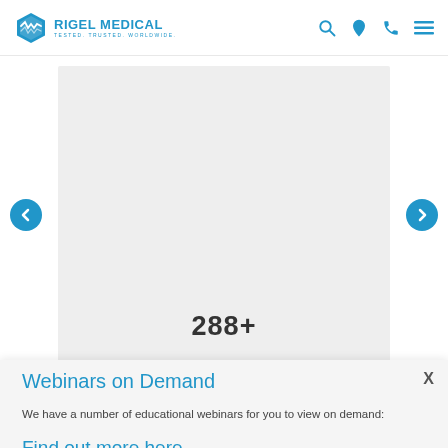RIGEL MEDICAL — TESTED. TRUSTED. WORLDWIDE.
[Figure (screenshot): Gray carousel slide area showing '288+' statistic with left and right navigation arrows]
288+
X
Webinars on Demand
We have a number of educational webinars for you to view on demand:
Find out more here